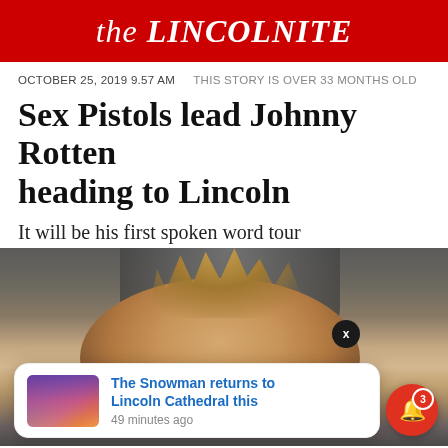the LINCOLNITE
OCTOBER 25, 2019 9.57 AM   THIS STORY IS OVER 33 MONTHS OLD
Sex Pistols lead Johnny Rotten heading to Lincoln
It will be his first spoken word tour
[Figure (photo): Close-up photo of Johnny Rotten with spiky hair against a dark arched background, with a push notification overlay reading 'The Snowman returns to Lincoln Cathedral this' posted 49 minutes ago, and a red bell notification button showing 3 unread notifications.]